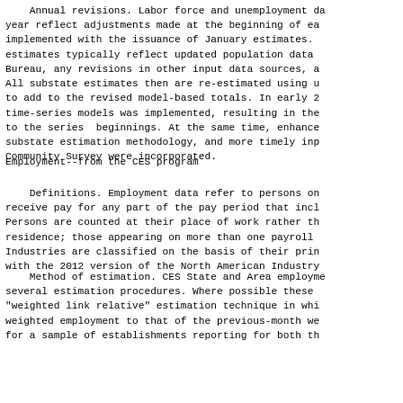Annual revisions. Labor force and unemployment data for each year reflect adjustments made at the beginning of each year, implemented with the issuance of January estimates. The revised estimates typically reflect updated population data from the Census Bureau, any revisions in other input data sources, and so forth. All substate estimates then are re-estimated using updated inputs to add to the revised model-based totals. In early 2013, improved time-series models was implemented, resulting in the revision of data to the series  beginnings. At the same time, enhancements to substate estimation methodology, and more timely inputs from the American Community Survey were incorporated.
Employment--from the CES program
Definitions. Employment data refer to persons on establishment payrolls who receive pay for any part of the pay period that includes the 12th of the month. Persons are counted at their place of work rather than at their place of residence; those appearing on more than one payroll are counted on each payroll. Industries are classified on the basis of their principal activity, in accordance with the 2012 version of the North American Industry Classification System (NAICS).
Method of estimation. CES State and Area employment estimates are produced using several estimation procedures. Where possible these procedures use a "weighted link relative" estimation technique in which a ratio of current-month weighted employment to that of the previous-month weighted employment for a sample of establishments reporting for both months is used to extrapolate the employment level.